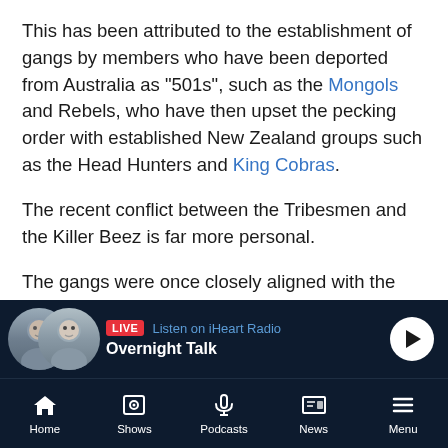This has been attributed to the establishment of gangs by members who have been deported from Australia as "501s", such as the Mongols and Rebels, who have then upset the pecking order with established New Zealand groups such as the Head Hunters and King Cobras.
The recent conflict between the Tribesmen and the Killer Beez is far more personal.
The gangs were once closely aligned with the Killer Beez, more of a youth street gang in the mid 2000s, acting as a feeder group to the Tribesmen, a more traditional motorcycle club.
[Figure (screenshot): Mobile app bottom bar showing LIVE radio banner with two host avatars, 'Listen on iHeart Radio' text, 'Overnight Talk' show name, and a play button]
Home | Shows | Podcasts | News | Menu